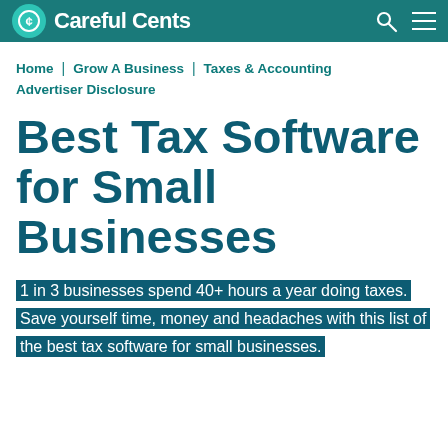Careful Cents
Home | Grow A Business | Taxes & Accounting | Advertiser Disclosure
Best Tax Software for Small Businesses
1 in 3 businesses spend 40+ hours a year doing taxes. Save yourself time, money and headaches with this list of the best tax software for small businesses.